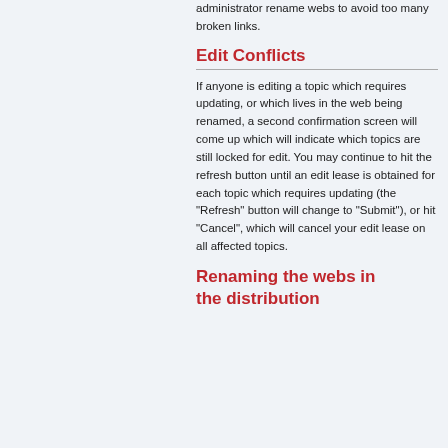administrator rename webs to avoid too many broken links.
Edit Conflicts
If anyone is editing a topic which requires updating, or which lives in the web being renamed, a second confirmation screen will come up which will indicate which topics are still locked for edit. You may continue to hit the refresh button until an edit lease is obtained for each topic which requires updating (the "Refresh" button will change to "Submit"), or hit "Cancel", which will cancel your edit lease on all affected topics.
Renaming the webs in the distribution